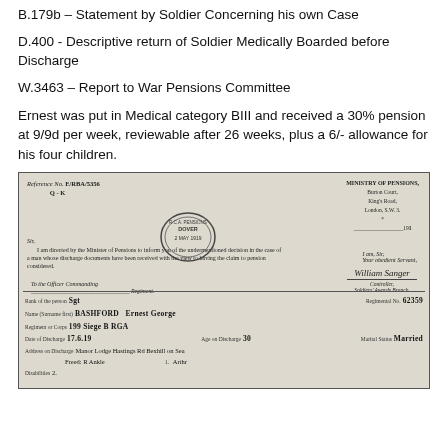B.179b – Statement by Soldier Concerning his own Case
D.400 - Descriptive return of Soldier Medically Boarded before Discharge
W.3463 – Report to War Pensions Committee
Ernest was put in Medical category BIII and received a 30% pension at 9/9d per week, reviewable after 26 weeks, plus a 6/- allowance for his four children.
[Figure (photo): Scanned Ministry of Pensions letter with Reference No. E/RBA/5356 Q-K, addressed from Ministry of Pensions, Burton Court, King's Road, London, S.W.3. Contains a circular stamp 'R.C.A. PENSIONS DOVER 2 MAY 1919'. Signed by William Sanger, Controller, Soldiers' Awards Branch. Fields filled in handwriting: Rank Sgt, Regimental No. 62359, Name BASHFORD Ernest George, Regiment 199 Siege B RGA, Date of Discharge 17-6-19, Age on Discharge 30, Marital Status Married, Address on Discharge Manor Lodge Hastings Rd Bexhill on Sea, Disabilities: Freed R Ankle, etc.]